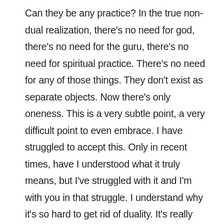Can they be any practice? In the true non-dual realization, there's no need for god, there's no need for the guru, there's no need for spiritual practice. There's no need for any of those things. They don't exist as separate objects. Now there's only oneness. This is a very subtle point, a very difficult point to even embrace. I have struggled to accept this. Only in recent times, have I understood what it truly means, but I've struggled with it and I'm with you in that struggle. I understand why it's so hard to get rid of duality. It's really difficult. Our mind will always get back to dual thinking. We don't even have to put any attention to that. The mind would automatically go into duality because duality is so comforting. Non-dual awakening is not so comforting in the sense of, if you think in duality. Therefore it's a real difficult truth to comprehend and even to accept, but it can be done.